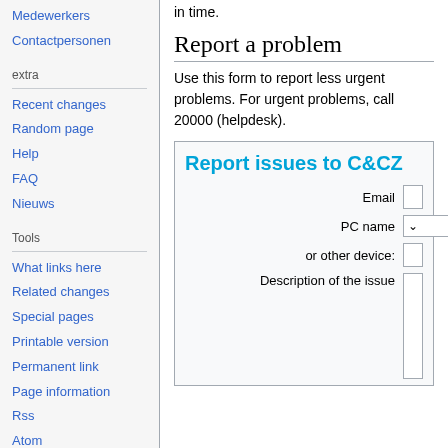Medewerkers
Contactpersonen
extra
Recent changes
Random page
Help
FAQ
Nieuws
Tools
What links here
Related changes
Special pages
Printable version
Permanent link
Page information
Rss
Atom
In other languages
in time.
Report a problem
Use this form to report less urgent problems. For urgent problems, call 20000 (helpdesk).
[Figure (screenshot): Report issues to C&CZ form with fields: Email, PC name or other device, Description of the issue]